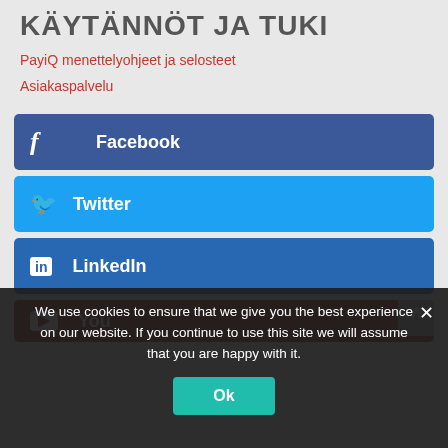KÄYTÄNNÖT JA TUKI
PayiQ menettelyohjeet ja selosteet
Asiakaspalvelu
[Figure (screenshot): Social media buttons: Facebook (dark blue), Twitter (light blue), LinkedIn (blue), YouTube (dark red, partially visible). Scroll-to-top button on right side.]
We use cookies to ensure that we give you the best experience on our website. If you continue to use this site we will assume that you are happy with it.